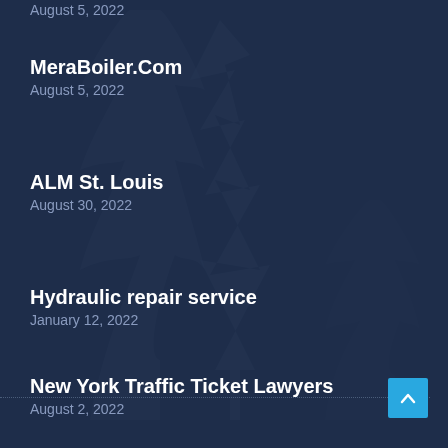August 5, 2022
MeraBoiler.Com
August 5, 2022
ALM St. Louis
August 30, 2022
Hydraulic repair service
January 12, 2022
New York Traffic Ticket Lawyers
August 2, 2022